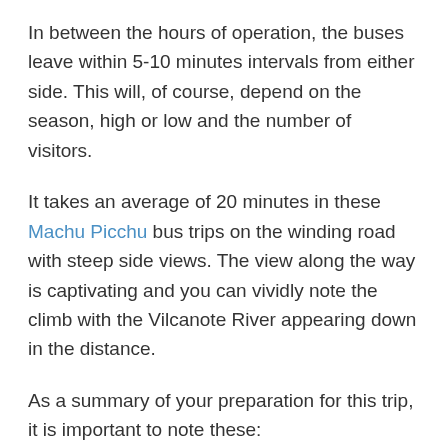In between the hours of operation, the buses leave within 5-10 minutes intervals from either side. This will, of course, depend on the season, high or low and the number of visitors.
It takes an average of 20 minutes in these Machu Picchu bus trips on the winding road with steep side views. The view along the way is captivating and you can vividly note the climb with the Vilcanote River appearing down in the distance.
As a summary of your preparation for this trip, it is important to note these:
-The Machu Picchu site opens at 6.00AM.
-You are served on a first come first serve basis at the bus terminal.